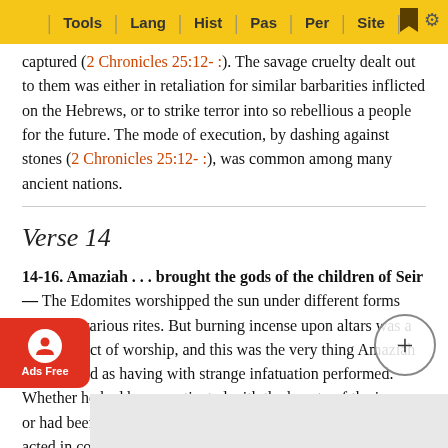Tools | Lang | Hist | Pas | Per | Site
captured (2 Chronicles 25:12- :). The savage cruelty dealt out to them was either in retaliation for similar barbarities inflicted on the Hebrews, or to strike terror into so rebellious a people for the future. The mode of execution, by dashing against stones (2 Chronicles 25:12- :), was common among many ancient nations.
Verse 14
14-16. Amaziah . . . brought the gods of the children of Seir— The Edomites worshipped the sun under different forms and with various rites. But burning incense upon altars was a principal act of worship, and this was the very thing Amaziah is described as having with strange infatuation performed. Whether he had been captivated with the beauty of the images, or had been moved by some feeling of spite at him, or had acted in conformity with customs of conquerors, he...